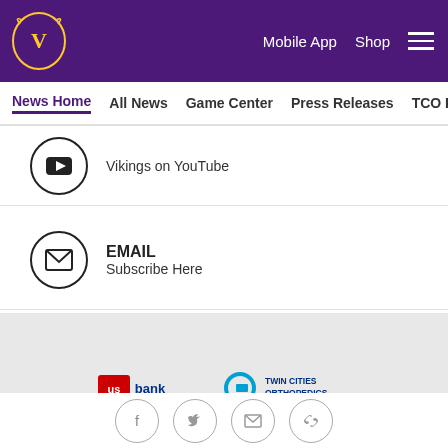Mobile App  Shop  ☰
News Home  All News  Game Center  Press Releases  TCO Per
Vikings on YouTube
EMAIL
Subscribe Here
NAMING RIGHTS
[Figure (logo): US Bank logo and Twin Cities Orthopedics logo]
[Figure (infographic): Social media icons: Facebook, Twitter, Email, Link]